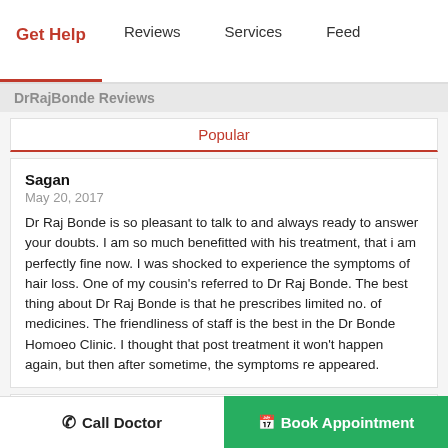Get Help | Reviews | Services | Feed
DrRajBonde Reviews
Popular
Sagan
May 20, 2017
Dr Raj Bonde is so pleasant to talk to and always ready to answer your doubts. I am so much benefitted with his treatment, that i am perfectly fine now. I was shocked to experience the symptoms of hair loss. One of my cousin's referred to Dr Raj Bonde. The best thing about Dr Raj Bonde is that he prescribes limited no. of medicines. The friendliness of staff is the best in the Dr Bonde Homoeo Clinic. I thought that post treatment it won't happen again, but then after sometime, the symptoms re appeared.
Anukampa
Feb 11, 2017
Call Doctor | Book Appointment